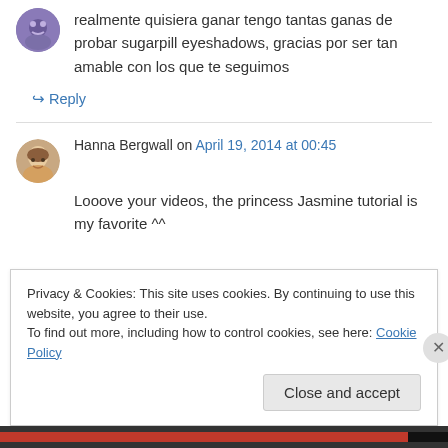[Figure (illustration): Purple avatar icon (partial, top-left)]
realmente quisiera ganar tengo tantas ganas de probar sugarpill eyeshadows, gracias por ser tan amable con los que te seguimos
↳ Reply
[Figure (photo): Round photo avatar of Hanna Bergwall]
Hanna Bergwall on April 19, 2014 at 00:45
Looove your videos, the princess Jasmine tutorial is my favorite ^^
Privacy & Cookies: This site uses cookies. By continuing to use this website, you agree to their use.
To find out more, including how to control cookies, see here: Cookie Policy
Close and accept